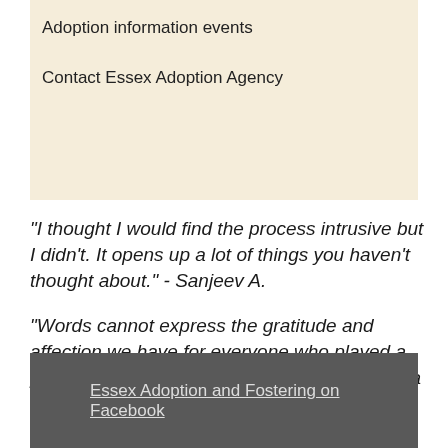Adoption information events
Contact Essex Adoption Agency
"I thought I would find the process intrusive but I didn't. It opens up a lot of things you haven't thought about." - Sanjeev A.
"Words cannot express the gratitude and affection we have for everyone who played a part in making our dreams come true." – Maria
Essex Adoption and Fostering on Facebook